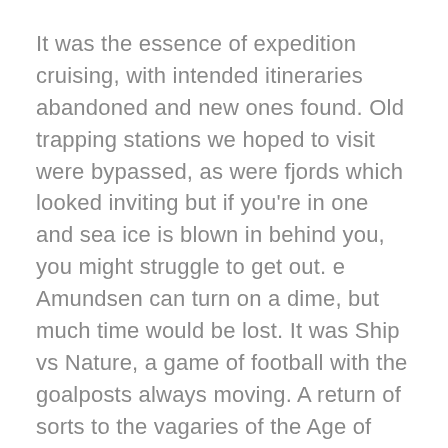It was the essence of expedition cruising, with intended itineraries abandoned and new ones found. Old trapping stations we hoped to visit were bypassed, as were fjords which looked inviting but if you're in one and sea ice is blown in behind you, you might struggle to get out. e Amundsen can turn on a dime, but much time would be lost. It was Ship vs Nature, a game of football with the goalposts always moving. A return of sorts to the vagaries of the Age of Sail.
Sea ice should be welcomed. Polar bears use it to hunt and it is a beguiling thing. It mesmerises with its patterns, reflections and hues. It flattens the ocean and is elemental. We stared at it as you would a campfire, becoming lost in the muted bluey greys of Arctic nights.